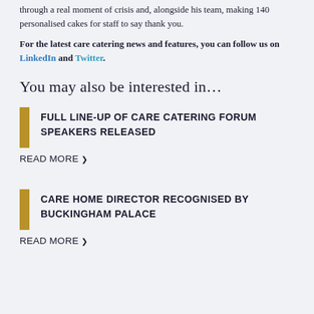through a real moment of crisis and, alongside his team, making 140 personalised cakes for staff to say thank you.
For the latest care catering news and features, you can follow us on LinkedIn and Twitter.
You may also be interested in…
FULL LINE-UP OF CARE CATERING FORUM SPEAKERS RELEASED
READ MORE ❯
CARE HOME DIRECTOR RECOGNISED BY BUCKINGHAM PALACE
READ MORE ❯